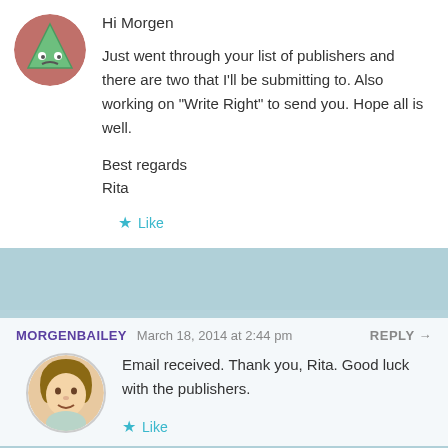Hi Morgen
Just went through your list of publishers and there are two that I'll be submitting to. Also working on “Write Right” to send you. Hope all is well.
Best regards
Rita
Like
MORGENBAILEY  March 18, 2014 at 2:44 pm  REPLY →
Email received. Thank you, Rita. Good luck with the publishers.
Like